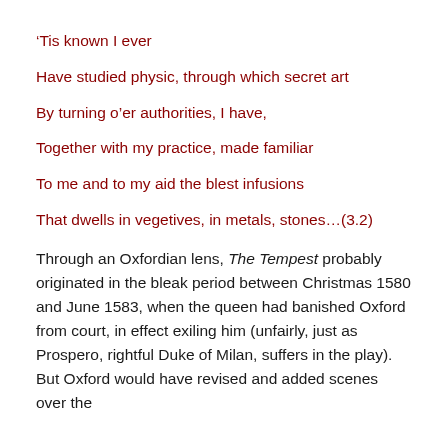‘Tis known I ever
Have studied physic, through which secret art
By turning o’er authorities, I have,
Together with my practice, made familiar
To me and to my aid the blest infusions
That dwells in vegetives, in metals, stones…(3.2)
Through an Oxfordian lens, The Tempest probably originated in the bleak period between Christmas 1580 and June 1583, when the queen had banished Oxford from court, in effect exiling him (unfairly, just as Prospero, rightful Duke of Milan, suffers in the play).  But Oxford would have revised and added scenes over the